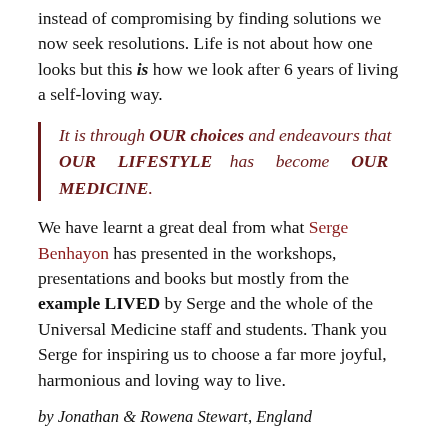instead of compromising by finding solutions we now seek resolutions. Life is not about how one looks but this is how we look after 6 years of living a self-loving way.
It is through OUR choices and endeavours that OUR LIFESTYLE has become OUR MEDICINE.
We have learnt a great deal from what Serge Benhayon has presented in the workshops, presentations and books but mostly from the example LIVED by Serge and the whole of the Universal Medicine staff and students. Thank you Serge for inspiring us to choose a far more joyful, harmonious and loving way to live.
by Jonathan & Rowena Stewart, England